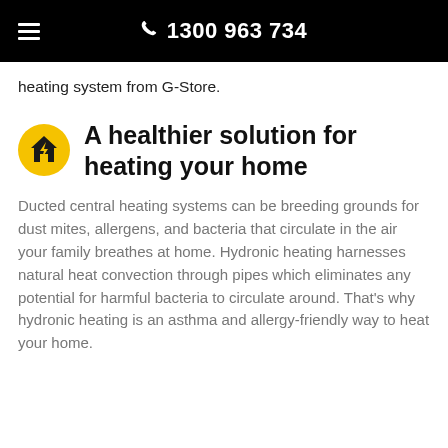1300 963 734
heating system from G-Store.
A healthier solution for heating your home
Ducted central heating systems can be breeding grounds for dust mites, allergens, and bacteria that circulate in the air your family breathes at home. Hydronic heating harnesses natural heat convection through pipes which eliminates any potential for harmful bacteria to circulate around. That's why hydronic heating is an asthma and allergy-friendly way to heat your home.